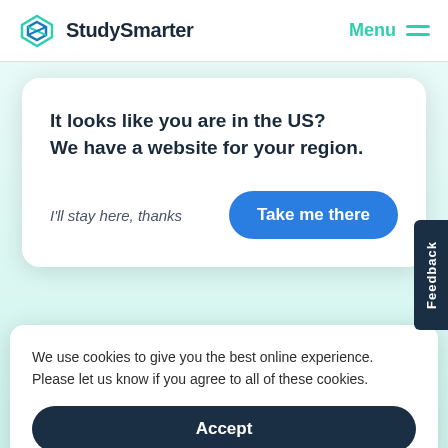StudySmarter   Menu
It looks like you are in the US?
We have a website for your region.
I'll stay here, thanks
Take me there
KOSTENLOS ANMELDEN
Feedback
We use cookies to give you the best online experience. Please let us know if you agree to all of these cookies.
Accept